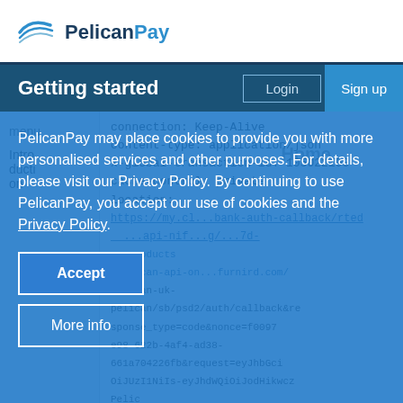[Figure (logo): PelicanPay logo with bird graphic and stylized text]
Getting started | Login | Sign up
connection: Keep-Alive
content-type: application/json
x-global-transaction-id: 105022193
cache-control: private
location:
https://my.cl... (URL redirect text visible in background)
PelicanPay may place cookies to provide you with more personalised services and other purposes. For details, please visit our Privacy Policy. By continuing to use PelicanPay, you accept our use of cookies and the Privacy Policy.
Accept
More info